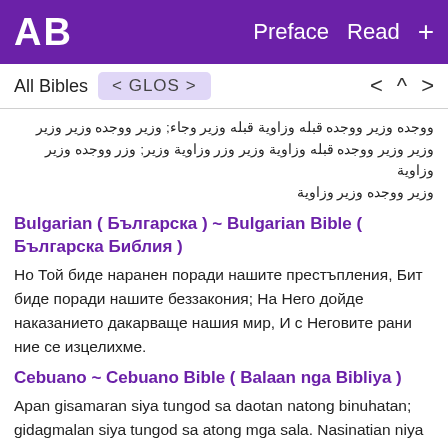AB  Preface  Read  +
All Bibles  < GLOS >  < ^ >
ووجده وزير ووجده قبله وزاوية قبله وزير وجاء; وزير ووجده وزير وزير وزير وزير ووجده قبله وزاوية وزير وزر وزاوية وزير; وزر ووجده وزير وزاوية وزير ووجده وزير وزاوية
Bulgarian ( Българска ) ~ Bulgarian Bible ( Българска Библия )
Но Той биде наранен поради нашите престъпления, Бит биде поради нашите беззакония; На Него дойде наказанието дакарваще нашия мир, И с Неговите рани ние се изцелихме.
Cebuano ~ Cebuano Bible ( Balaan nga Bibliya )
Apan gisamaran siya tungod sa daotan natong binuhatan; gidagmalan siya tungod sa atong mga sala. Nasinatian niya ang pagsilot alang sa atong kalinaw, ug pangaayo kita pinaagi sa iyang mga samad.